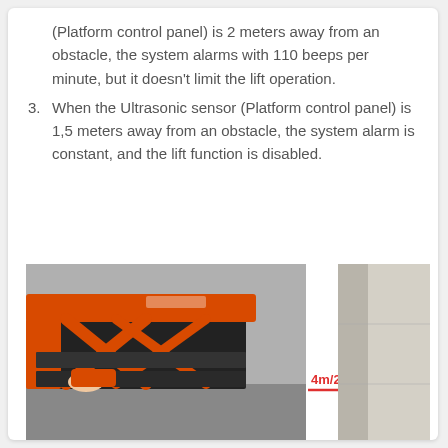(Platform control panel) is 2 meters away from an obstacle, the system alarms with 110 beeps per minute, but it doesn't limit the lift operation.
3. When the Ultrasonic sensor (Platform control panel) is 1,5 meters away from an obstacle, the system alarm is constant, and the lift function is disabled.
[Figure (photo): Photo of an orange scissor lift platform next to a wall, with a red arrow and label '4m/2m/1.5m' indicating the distance measurement from the platform to the wall.]